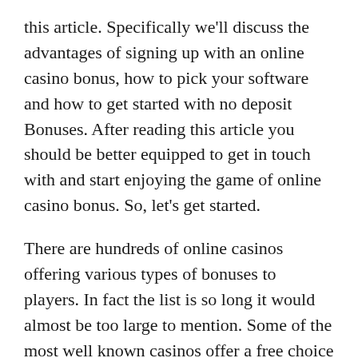this article. Specifically we'll discuss the advantages of signing up with an online casino bonus, how to pick your software and how to get started with no deposit Bonuses. After reading this article you should be better equipped to get in touch with and start enjoying the game of online casino bonus. So, let's get started.
There are hundreds of online casinos offering various types of bonuses to players. In fact the list is so long it would almost be too large to mention. Some of the most well known casinos offer a free choice of software, which can range from bingo to slots. Other casinos offer a variety of free bonuses including instant deposit bonuses, sign up bonus, reload bonuses, and more. This is a great place for new players to start as they get the